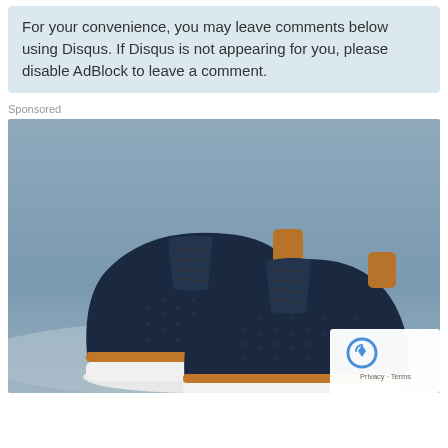For your convenience, you may leave comments below using Disqus. If Disqus is not appearing for you, please disable AdBlock to leave a comment.
Sponsored
[Figure (photo): Advertisement photo of a pair of dark navy blue knit sneakers with tan/brown leather accents and white soles, displayed against a light blue-grey background.]
Privacy · Terms